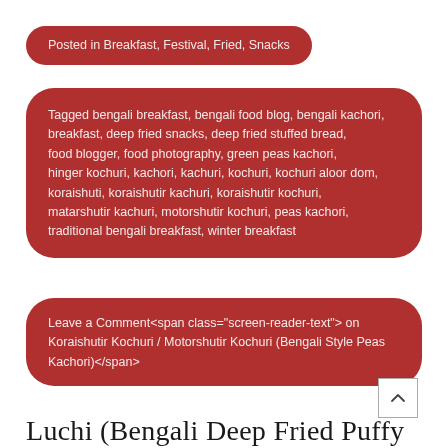Posted in Breakfast, Festival, Fried, Snacks
Tagged bengali breakfast, bengali food blog, bengali kachori, breakfast, deep fried snacks, deep fried stuffed bread, food blogger, food photography, green peas kachori, hinger kochuri, kachori, kachuri, kochuri, kochuri aloor dom, koraishuti, koraishutir kachuri, koraishutir kochuri, matarshutir kachuri, motorshutir kochuri, peas kachori, traditional bengali breakfast, winter breakfast
Leave a Comment<span class="screen-reader-text"> on Koraishutir Kochuri / Motorshutir Kochuri (Bengali Style Peas Kachori)</span>
Luchi (Bengali Deep Fried Puffy